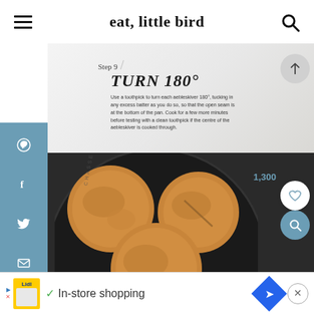eat, little bird
[Figure (photo): Step 9 TURN 180° instruction overlay on marble background above a black cast iron pan with golden-brown aebleskiver (Danish pancake balls). Social sharing sidebar with Pinterest, Facebook, Twitter, Email icons in steel blue. Floating action buttons for scroll up, save (1,300), heart/save, and zoom. Bottom ad banner for Lidl in-store shopping.]
Step 9 / TURN 180°
Use a toothpick to turn each aebleskiver 180°, tucking in any excess batter as you do so, so that the open seam is at the bottom of the pan. Cook for a few more minutes before testing with a clean toothpick if the centre of the aebleskiver is cooked through.
1,300
✓  In-store shopping